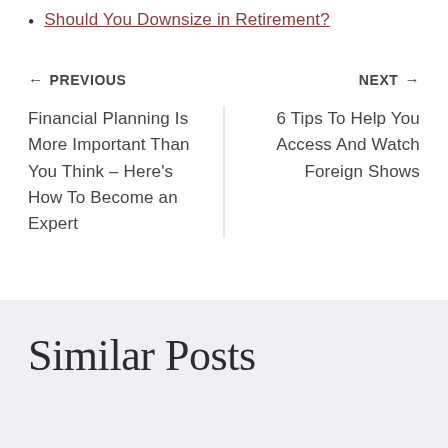Should You Downsize in Retirement?
← PREVIOUS
NEXT →
Financial Planning Is More Important Than You Think – Here's How To Become an Expert
6 Tips To Help You Access And Watch Foreign Shows
Similar Posts